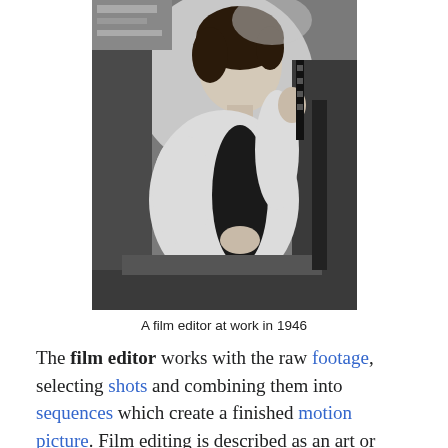[Figure (photo): Black and white photograph of a woman (film editor) at work in 1946, holding and examining a strip of film, seated at an editing table with equipment around her.]
A film editor at work in 1946
The film editor works with the raw footage, selecting shots and combining them into sequences which create a finished motion picture. Film editing is described as an art or skill, the only art that is unique to cinema, separating filmmaking from other art forms that preceded it, although there are close parallels to the editing process in other art